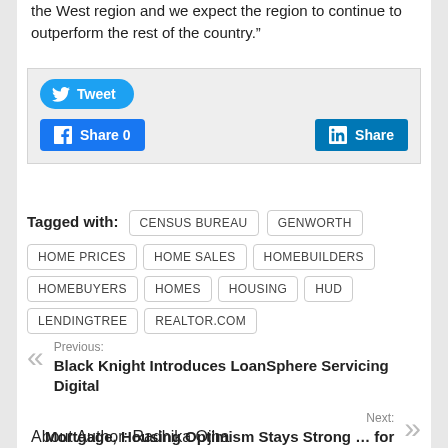the West region and we expect the region to continue to outperform the rest of the country.”
[Figure (screenshot): Social media sharing buttons: Tweet (Twitter), Share 0 (Facebook), Share (LinkedIn)]
Tagged with: CENSUS BUREAU  GENWORTH  HOME PRICES  HOME SALES  HOMEBUILDERS  HOMEBUYERS  HOMES  HOUSING  HUD  LENDINGTREE  REALTOR.COM
Previous: Black Knight Introduces LoanSphere Servicing Digital
Next: Mortgage, Housing Optimism Stays Strong … for Now
About Author: Radhika Ojha